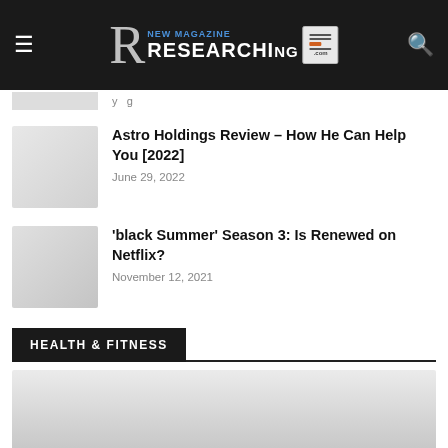New Magazine Research .com
Astro Holdings Review – How He Can Help You [2022]
June 29, 2022
'black Summer' Season 3: Is Renewed on Netflix?
November 12, 2021
HEALTH & FITNESS
[Figure (photo): Large placeholder image for Health & Fitness section]